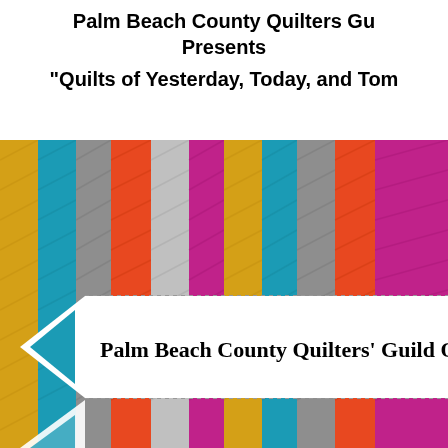Palm Beach County Quilters Guild Presents
“Quilts of Yesterday, Today, and Tomorrow”
[Figure (illustration): Decorative image with colorful vertical fabric-like stripes (gold, teal, gray, orange-red, light gray, magenta/pink, teal, dark gray, teal, red-orange) with a white ribbon/banner across the middle containing dashed borders. The banner has a pointed arrow shape on the left side and displays the text 'Palm Beach County Quilters' Guild Quilt S...' A small white arrow/triangle is visible at the bottom left.]